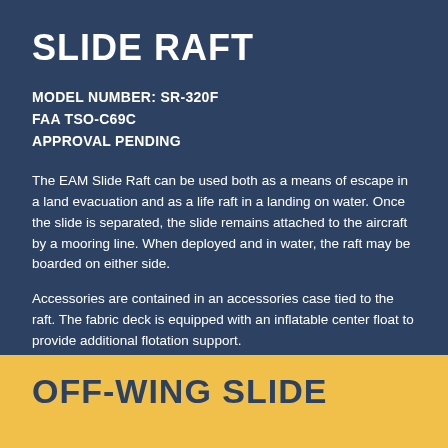SLIDE RAFT
MODEL NUMBER: SR-320F
FAA TSO-C69C
APPROVAL PENDING
The EAM Slide Raft can be used both as a means of escape in a land evacuation and as a life raft in a landing on water. Once the slide is separated, the slide remains attached to the aircraft by a mooring line. When deployed and in water, the raft may be boarded on either side.
Accessories are contained in an accessories case tied to the raft. The fabric deck is equipped with an inflatable center float to provide additional flotation support.
OFF-WING SLIDE